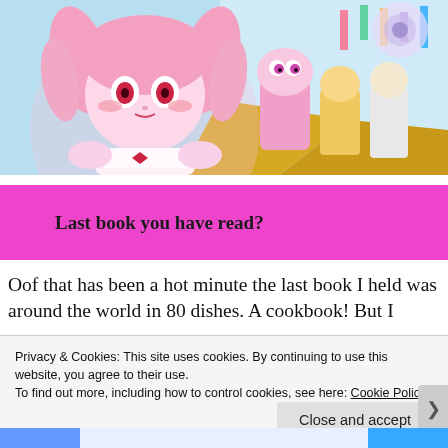[Figure (illustration): Composite image: anime girl with pink hair and frills on the left overlaid on a LEGO movie scene with colorful castle, Unikitty, Emmet, and Gandalf characters on a golden road background.]
Last book you have read?
Oof that has been a hot minute the last book I held was around the world in 80 dishes. A cookbook! But I
Privacy & Cookies: This site uses cookies. By continuing to use this website, you agree to their use.
To find out more, including how to control cookies, see here: Cookie Policy
Close and accept